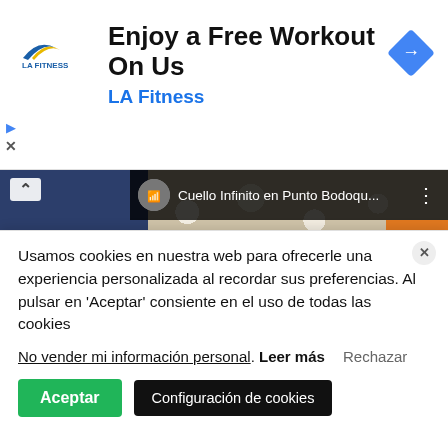[Figure (screenshot): LA Fitness advertisement banner with logo, 'Enjoy a Free Workout On Us' headline, 'LA Fitness' subtitle in blue, and a blue diamond arrow icon on the right]
[Figure (screenshot): YouTube video thumbnail for 'Cuello Infinito en Punto Bodoqu...' showing a white bobble-stitch infinity scarf, with dark blue sidebar showing letters C U E L, orange badge with 'Soy Wedy' branding, green 'PROYEC' badge, and red element at bottom]
Usamos cookies en nuestra web para ofrecerle una experiencia personalizada al recordar sus preferencias. Al pulsar en 'Aceptar' consiente en el uso de todas las cookies
No vender mi información personal. Leer más Rechazar
Aceptar
Configuración de cookies